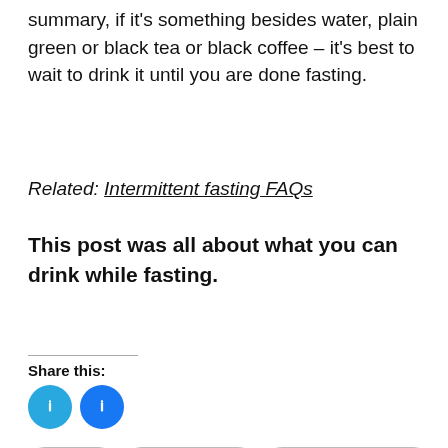summary, if it's something besides water, plain green or black tea or black coffee – it's best to wait to drink it until you are done fasting.
Related: Intermittent fasting FAQs
This post was all about what you can drink while fasting.
Share this:
[Figure (other): Two circular social share buttons (Twitter/X and Facebook) in blue]
#fasting
#fasting drinks
#intermittent fasting